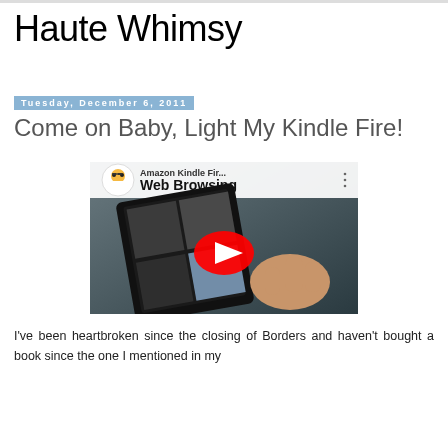Haute Whimsy
Tuesday, December 6, 2011
Come on Baby, Light My Kindle Fire!
[Figure (screenshot): YouTube video thumbnail showing Amazon Kindle Fire Web Browsing video, with a red play button overlay on an image of a Kindle Fire tablet being held by a hand, with the YouTube channel avatar (cartoon character in lab coat) and video title 'Amazon Kindle Fir... Web Browsing' visible at the top.]
I've been heartbroken since the closing of Borders and haven't bought a book since the one I mentioned in my